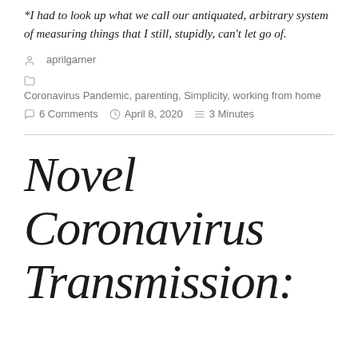*I had to look up what we call our antiquated, arbitrary system of measuring things that I still, stupidly, can't let go of.
aprilgarner
Coronavirus Pandemic, parenting, Simplicity, working from home
6 Comments   April 8, 2020   3 Minutes
Novel Coronavirus Transmission: